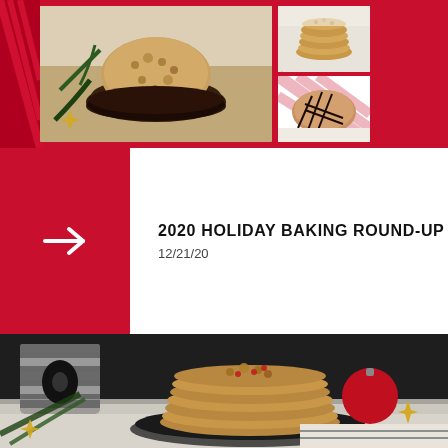[Figure (photo): Top strip of three cookie photos on a red background: large photo on left showing oatmeal cookie in dark bowl with pine sprigs (red/striped background), top-right photo showing stacked oatmeal cookies on white surface, bottom-right photo showing chocolate-drizzled peanut butter cookie on white surface with red diagonal stripes]
[Figure (infographic): Red square card on the left with a white right-pointing arrow, paired with title text '2020 HOLIDAY BAKING ROUND-UP' and date '12/21/20' on white background to the right]
2020 HOLIDAY BAKING ROUND-UP
12/21/20
[Figure (photo): Large bottom photo showing a tall stack of oatmeal cranberry cookies on a dark metal plate, with a striped ribbon spool on the left, a red Christmas ornament ball on the right, gold star decorations and pine branches in the foreground, on a dark background]